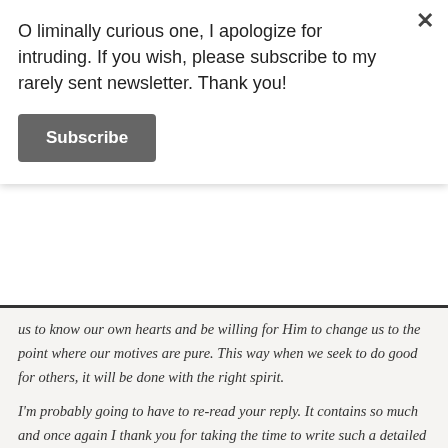O liminally curious one, I apologize for intruding. If you wish, please subscribe to my rarely sent newsletter. Thank you!
Subscribe
us to know our own hearts and be willing for Him to change us to the point where our motives are pure. This way when we seek to do good for others, it will be done with the right spirit.
I'm probably going to have to re-read your reply. It contains so much and once again I thank you for taking the time to write such a detailed response!! God bless you!!
Like
intuitiveblogging
16 Jun 2012 at 3:53 pm